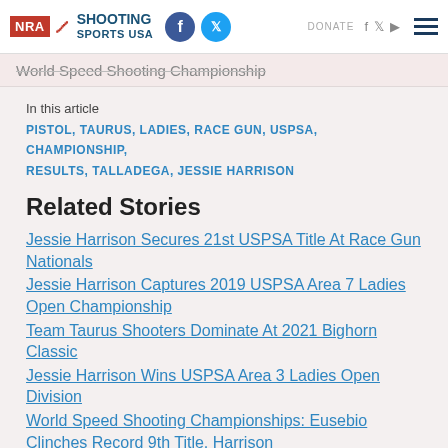NRA Shooting Sports USA
World Speed Shooting Championship
In this article
PISTOL, TAURUS, LADIES, RACE GUN, USPSA, CHAMPIONSHIP, RESULTS, TALLADEGA, JESSIE HARRISON
Related Stories
Jessie Harrison Secures 21st USPSA Title At Race Gun Nationals
Jessie Harrison Captures 2019 USPSA Area 7 Ladies Open Championship
Team Taurus Shooters Dominate At 2021 Bighorn Classic
Jessie Harrison Wins USPSA Area 3 Ladies Open Division
World Speed Shooting Championships: Eusebio Clinches Record 9th Title, Harrison